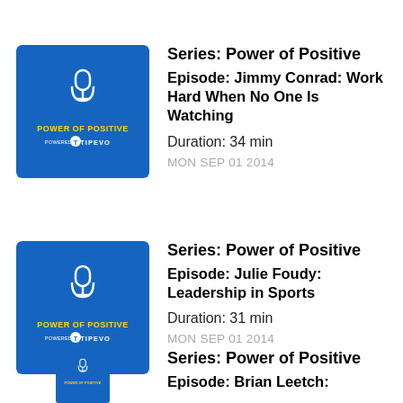[Figure (illustration): Power of Positive podcast thumbnail - blue square with microphone icon, yellow text 'POWER OF POSITIVE', white TIPEVO logo]
Series: Power of Positive
Episode: Jimmy Conrad: Work Hard When No One Is Watching
Duration: 34 min
MON SEP 01 2014
[Figure (illustration): Power of Positive podcast thumbnail - blue square with microphone icon, yellow text 'POWER OF POSITIVE', white TIPEVO logo]
Series: Power of Positive
Episode: Julie Foudy: Leadership in Sports
Duration: 31 min
MON SEP 01 2014
[Figure (illustration): Power of Positive podcast thumbnail - blue square with microphone icon, yellow text 'POWER OF POSITIVE', white TIPEVO logo (partially visible)]
Series: Power of Positive
Episode: Brian Leetch: